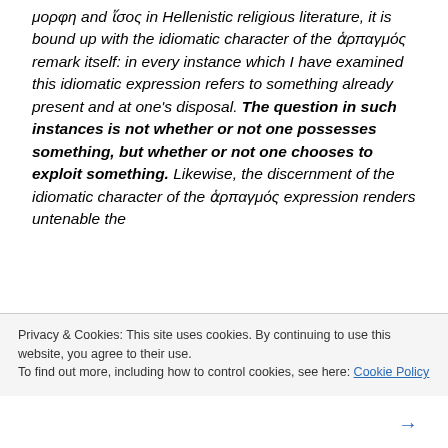μορφη and ἴσος in Hellenistic religious literature, it is bound up with the idiomatic character of the ἁρπαγμός remark itself: in every instance which I have examined this idiomatic expression refers to something already present and at one's disposal. The question in such instances is not whether or not one possesses something, but whether or not one chooses to exploit something. Likewise, the discernment of the idiomatic character of the ἁρπαγμός expression renders untenable the
Privacy & Cookies: This site uses cookies. By continuing to use this website, you agree to their use.
To find out more, including how to control cookies, see here: Cookie Policy